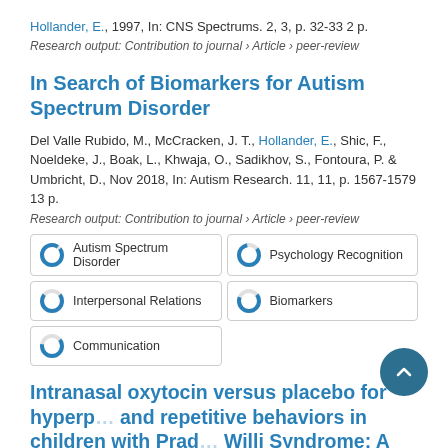Hollander, E., 1997, In: CNS Spectrums. 2, 3, p. 32-33 2 p.
Research output: Contribution to journal › Article › peer-review
In Search of Biomarkers for Autism Spectrum Disorder
Del Valle Rubido, M., McCracken, J. T., Hollander, E., Shic, F., Noeldeke, J., Boak, L., Khwaja, O., Sadikhov, S., Fontoura, P. & Umbricht, D., Nov 2018, In: Autism Research. 11, 11, p. 1567-1579 13 p.
Research output: Contribution to journal › Article › peer-review
Autism Spectrum Disorder
Psychology Recognition
Interpersonal Relations
Biomarkers
Communication
Intranasal oxytocin versus placebo for hyperp... and repetitive behaviors in children with Prad... Willi Syndrome: A randomized controlled pilot trial